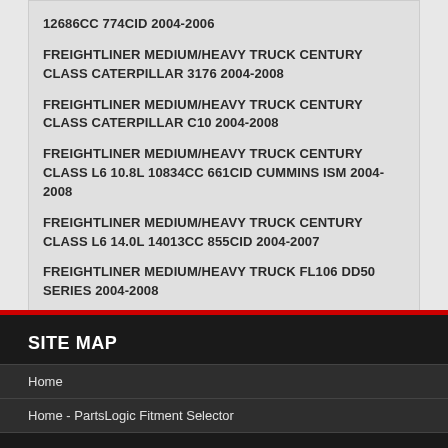12686CC 774CID 2004-2006
FREIGHTLINER MEDIUM/HEAVY TRUCK CENTURY CLASS CATERPILLAR 3176 2004-2008
FREIGHTLINER MEDIUM/HEAVY TRUCK CENTURY CLASS CATERPILLAR C10 2004-2008
FREIGHTLINER MEDIUM/HEAVY TRUCK CENTURY CLASS L6 10.8L 10834CC 661CID CUMMINS ISM 2004-2008
FREIGHTLINER MEDIUM/HEAVY TRUCK CENTURY CLASS L6 14.0L 14013CC 855CID 2004-2007
FREIGHTLINER MEDIUM/HEAVY TRUCK FL106 DD50 SERIES 2004-2008
SITE MAP
Home
Home - PartsLogic Fitment Selector